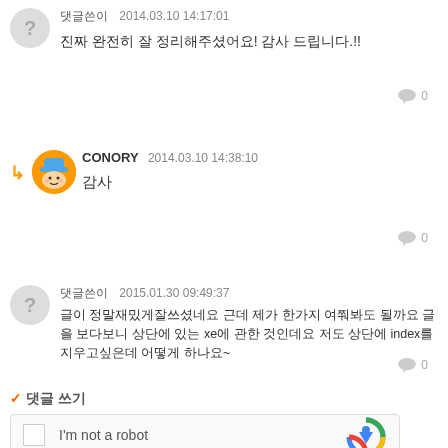댓글쓴이  2014.03.10 14:17:01
진짜 완전히 잘 정리해주셨어요! 감사 드립니다.!!
CONORY  2014.03.10 14:38:10
감사
댓글쓴이  2015.01.30 09:49:37
글이 정말재밌게잘쓰셨네요 근데 제가 한가지 여쭤봐도 될까요 글을 보다보니 상단에 있는 xe에 관한 것인데요 저도 상단에 index를 지우고싶은데 어떻게 하나요~
✓ 댓글 쓰기
I'm not a robot